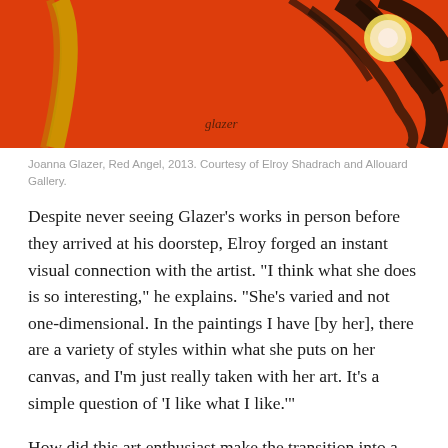[Figure (photo): Close-up detail of a painting featuring vivid red-orange background with black curved brushstrokes and a yellow-white circular form, signed 'glazer' in the lower middle area.]
Joanna Glazer, Red Angel, 2013. Courtesy of Elroy Shadrach and Allouard Gallery.
Despite never seeing Glazer’s works in person before they arrived at his doorstep, Elroy forged an instant visual connection with the artist. “I think what she does is so interesting,” he explains. “She’s varied and not one-dimensional. In the paintings I have [by her], there are a variety of styles within what she puts on her canvas, and I’m just really taken with her art. It’s a simple question of ‘I like what I like.’”
How did this art enthusiast make the transition into a keen collector during a global pandemic?